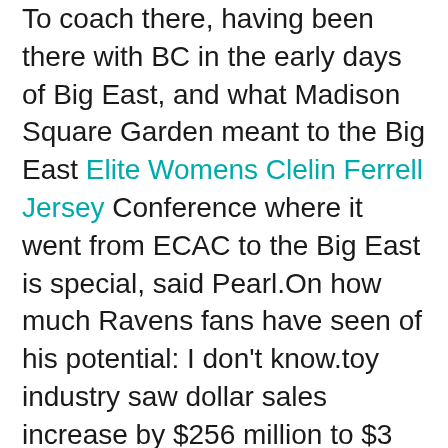To coach there, having been there with BC in the early days of Big East, and what Madison Square Garden meant to the Big East Elite Womens Clelin Ferrell Jersey Conference where it went from ECAC to the Big East is special, said Pearl.On how much Ravens fans have seen of his potential: I don't know.toy industry saw dollar sales increase by $256 million to $3 billion Q1 , a 7% increase over the same time period last year.◆?The NBA told its teams it is targeting no earlier than May 8 for the possible opening of training facilities in some areas but that it may push this timing back if developments warrant.
Jeff Okudah CB Ohio State Detroit Lions 4.Griffin stars in a 30-second http://www.49ersshopnfljerseys.com/YOUTH+DEFOREST+BUCKNER+JERSEY spot, Blow Up that...